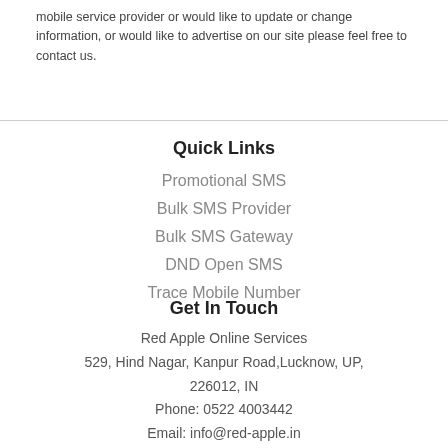mobile service provider or would like to update or change information, or would like to advertise on our site please feel free to contact us.
Quick Links
Promotional SMS
Bulk SMS Provider
Bulk SMS Gateway
DND Open SMS
Trace Mobile Number
Get In Touch
Red Apple Online Services
529, Hind Nagar, Kanpur Road,Lucknow, UP, 226012, IN
Phone: 0522 4003442
Email: info@red-apple.in
Website: http://www.red-apple.in/